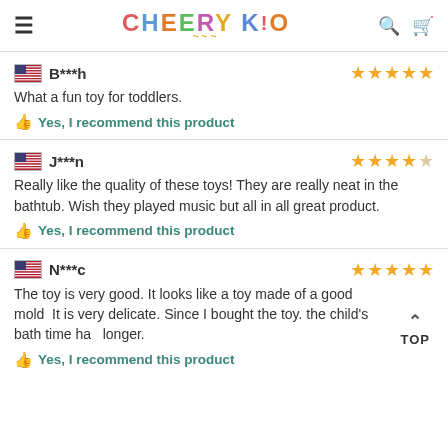CHEERY KID
B***h — 5 stars
What a fun toy for toddlers.
Yes, I recommend this product
J***n — 4 stars
Really like the quality of these toys! They are really neat in the bathtub. Wish they played music but all in all great product.
Yes, I recommend this product
N***c — 5 stars
The toy is very good. It looks like a toy made of a good mold  It is very delicate. Since I bought the toy. the child's bath time ha longer.
Yes, I recommend this product